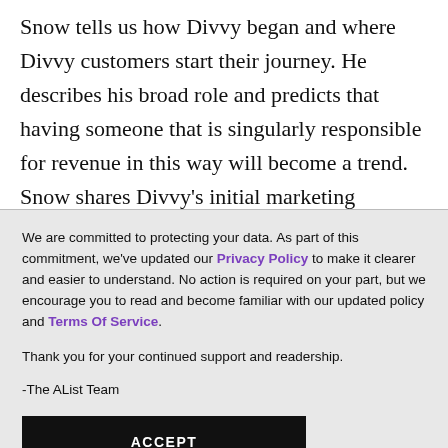Snow tells us how Divvy began and where Divvy customers start their journey. He describes his broad role and predicts that having someone that is singularly responsible for revenue in this way will become a trend. Snow shares Divvy's initial marketing strategy and how the company diversified. His advice to other marketers at
We are committed to protecting your data. As part of this commitment, we've updated our Privacy Policy to make it clearer and easier to understand. No action is required on your part, but we encourage you to read and become familiar with our updated policy and Terms Of Service.

Thank you for your continued support and readership.

-The AList Team